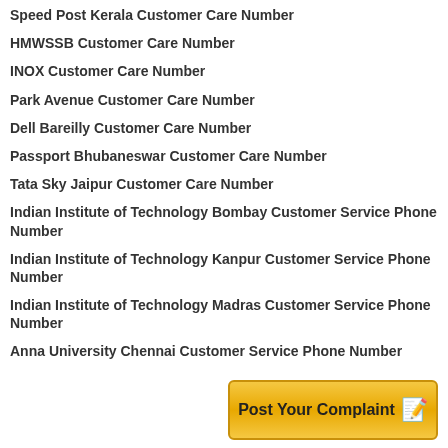Speed Post Kerala Customer Care Number
HMWSSB Customer Care Number
INOX Customer Care Number
Park Avenue Customer Care Number
Dell Bareilly Customer Care Number
Passport Bhubaneswar Customer Care Number
Tata Sky Jaipur Customer Care Number
Indian Institute of Technology Bombay Customer Service Phone Number
Indian Institute of Technology Kanpur Customer Service Phone Number
Indian Institute of Technology Madras Customer Service Phone Number
Anna University Chennai Customer Service Phone Number
[Figure (other): Post Your Complaint button banner with pencil/notepad icon]